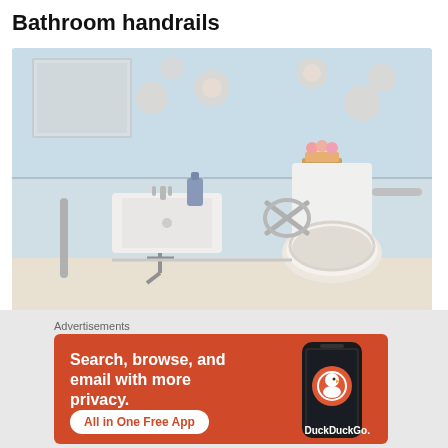Bathroom handrails
[Figure (photo): Photo of an accessible bathroom showing handrails near a wall-mounted sink and a toilet, with floral wallpaper and chrome grab bars installed.]
Advertisements
[Figure (screenshot): DuckDuckGo advertisement banner with orange background. Text reads: 'Search, browse, and email with more privacy. All in One Free App' with DuckDuckGo logo and a phone graphic.]